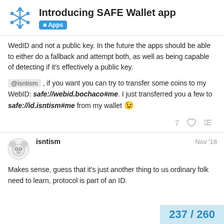Introducing SAFE Wallet app — Apps
WedID and not a public key. In the future the apps should be able to either do a fallback and attempt both, as well as being capable of detecting if it's effectively a public key.
@isntism , if you want you can try to transfer some coins to my WebID: safe://webid.bochaco#me. I just transferred you a few to safe://id.isntism#me from my wallet 😉
isntism   Nov '18
Makes sense, guess that it's just another thing to us ordinary folk need to learn, protocol is part of an ID.
237 / 260